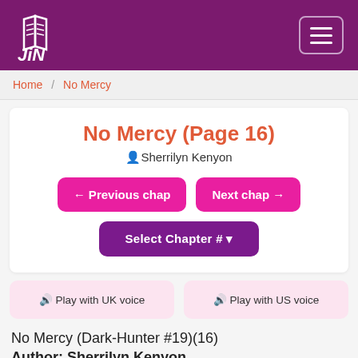[Figure (logo): Jin logo with stylized book pages and text 'JiN' in white on dark purple header]
Home / No Mercy
No Mercy (Page 16)
Sherrilyn Kenyon
← Previous chap   Next chap →
Select Chapter # ▼
🔊 Play with UK voice   🔊 Play with US voice
No Mercy (Dark-Hunter #19)(16)
Author: Sherrilyn Kenyon